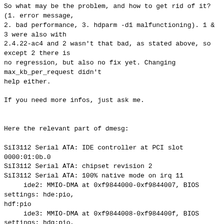So what may be the problem, and how to get rid of it?
(1. error message,
2. bad performance, 3. hdparm -d1 malfunctioning). 1 &
3 were also with
2.4.22-ac4 and 2 wasn't that bad, as stated above, so
except 2 there is
no regression, but also no fix yet. Changing
max_kb_per_request didn't
help either.

If you need more infos, just ask me.


Here the relevant part of dmesg:

SiI3112 Serial ATA: IDE controller at PCI slot
0000:01:0b.0
SiI3112 Serial ATA: chipset revision 2
SiI3112 Serial ATA: 100% native mode on irq 11
     ide2: MMIO-DMA at 0xf9844000-0xf9844007, BIOS
settings: hde:pio,
hdf:pio
     ide3: MMIO-DMA at 0xf9844008-0xf984400f, BIOS
settings: hdg:pio,
hdh:pio
hde: SAMSUNG SP1614N, ATA DISK drive
ide2 at 0xf9844080-0xf9844087,0xf984408a on irq 11
hde: max request size: 7KiB
hde: 312581808 sectors (160041 MB) w/8192KiB Cache,
CHS=19457/255/63,